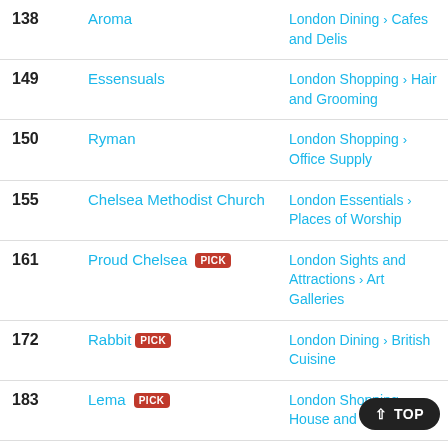| # | Name | Category |
| --- | --- | --- |
| 138 | Aroma | London Dining > Cafes and Delis |
| 149 | Essensuals | London Shopping > Hair and Grooming |
| 150 | Ryman | London Shopping > Office Supply |
| 155 | Chelsea Methodist Church | London Essentials > Places of Worship |
| 161 | Proud Chelsea [PICK] | London Sights and Attractions > Art Galleries |
| 172 | Rabbit [PICK] | London Dining > British Cuisine |
| 183 | Lema [PICK] | London Shopping > House and Garden |
| 184 | Peter Werth | London Shopping > |